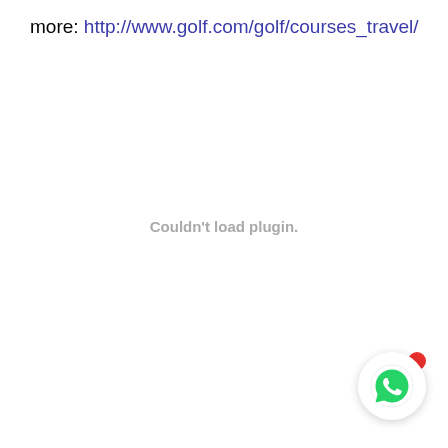more: http://www.golf.com/golf/courses_travel/
Couldn't load plugin.
[Figure (other): WhatsApp chat button icon (green phone in speech bubble) with a red notification dot in the upper right corner]